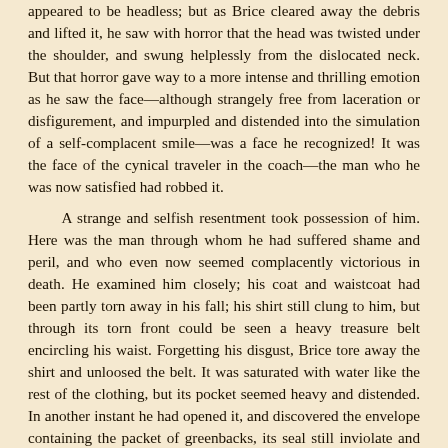appeared to be headless; but as Brice cleared away the debris and lifted it, he saw with horror that the head was twisted under the shoulder, and swung helplessly from the dislocated neck. But that horror gave way to a more intense and thrilling emotion as he saw the face—although strangely free from laceration or disfigurement, and impurpled and distended into the simulation of a self-complacent smile—was a face he recognized! It was the face of the cynical traveler in the coach—the man who he was now satisfied had robbed it.
A strange and selfish resentment took possession of him. Here was the man through whom he had suffered shame and peril, and who even now seemed complacently victorious in death. He examined him closely; his coat and waistcoat had been partly torn away in his fall; his shirt still clung to him, but through its torn front could be seen a heavy treasure belt encircling his waist. Forgetting his disgust, Brice tore away the shirt and unloosed the belt. It was saturated with water like the rest of the clothing, but its pocket seemed heavy and distended. In another instant he had opened it, and discovered the envelope containing the packet of greenbacks, its seal still inviolate and unbroken. It was the stolen treasure!
A faint sigh recalled him to himself. The girl was standing a few feet from him, regarding him curiously.
“It's the thief himself!” he said, in a breathless explanation. “In trying to escape he must have fallen from the road above